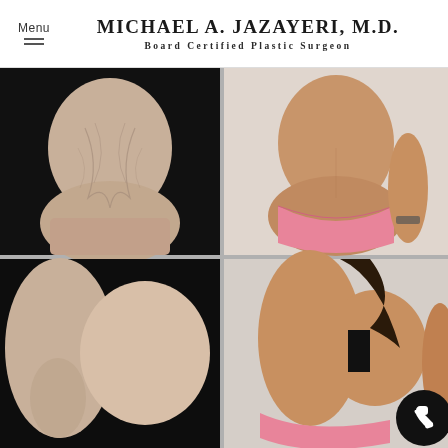Menu | MICHAEL A. JAZAYERI, M.D. | Board Certified Plastic Surgeon
[Figure (photo): Before and after plastic surgery comparison: 4-panel grid showing front view (before: excess abdominal skin; after: toned abdomen in pink bikini) and side view (before: large breast/torso profile; after: post-surgery profile in pink bikini). Medical before-after photos from Dr. Michael A. Jazayeri, Board Certified Plastic Surgeon.]